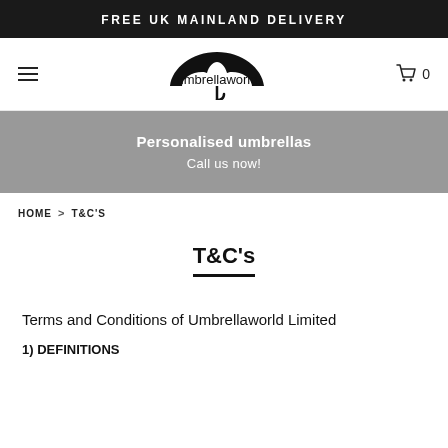FREE UK MAINLAND DELIVERY
[Figure (logo): Umbrellaworld logo with umbrella icon above the text 'umbrellaworld']
[Figure (infographic): Grey hero banner with text: Personalised umbrellas / Call us now!]
HOME > T&C'S
T&C's
Terms and Conditions of Umbrellaworld Limited
1) DEFINITIONS